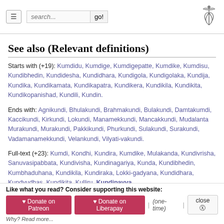Navigation menu, search bar, caduceus logo
See also (Relevant definitions)
Starts with (+19): Kumdidu, Kumdige, Kumdigepatte, Kumdike, Kumdisu, Kundibhedin, Kundidesha, Kundidhara, Kundigola, Kundigolaka, Kundija, Kundika, Kundikamata, Kundikapatra, Kundikera, Kundikila, Kundikita, Kundikopanishad, Kundili, Kundin.
Ends with: Agnikundi, Bhulakundi, Brahmakundi, Bulakundi, Damtakumdi, Kaccikundi, Kirkundi, Lokundi, Manamekkundi, Mancakkundi, Mudalanta Murakundi, Murakundi, Pakkikundi, Phurkundi, Sulakundi, Surakundi, Vadamanamekkundi, Velankundi, Vilyati-vakundi.
Full-text (+23): Kumdi, Kondhi, Kundira, Kumdike, Mulakanda, Kundivrisha, Sanuvasipabbata, Kundivisha, Kundinagariya, Kunda, Kundibhedin, Kumbhaduhana, Kundikila, Kundiraka, Lokki-gadyana, Kundidhara, Kundyudhas, Kundikita, Kulliru, Kundipavva.
Like what you read? Consider supporting this website: ♥ Donate on Patreon  ♥ Donate on Liberapay | (one-time) | close  Why? Read more...